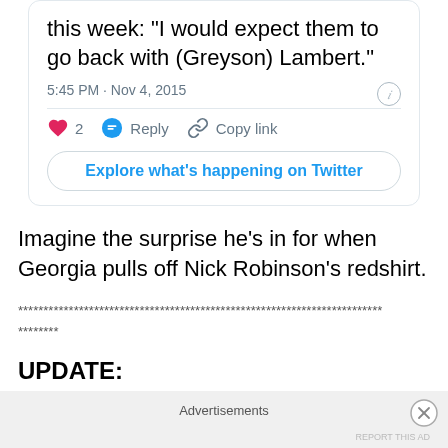[Figure (screenshot): Partial Twitter/X tweet card showing tweet text cut off at top, timestamp '5:45 PM · Nov 4, 2015', info icon, horizontal divider, like count 2 with heart icon, Reply button with speech bubble icon, Copy link with chain icon, and 'Explore what's happening on Twitter' button]
Imagine the surprise he's in for when Georgia pulls off Nick Robinson's redshirt.
************************************************************************
********
UPDATE:
Advertisements